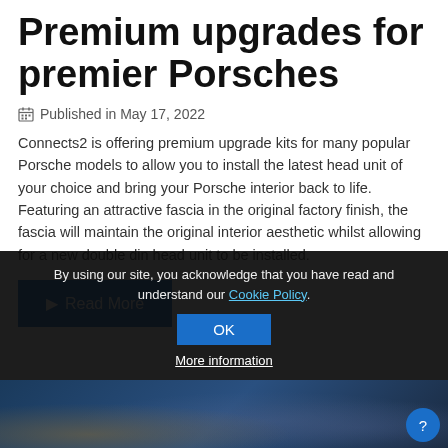Premium upgrades for premier Porsches
Published in May 17, 2022
Connects2 is offering premium upgrade kits for many popular Porsche models to allow you to install the latest head unit of your choice and bring your Porsche interior back to life. Featuring an attractive fascia in the original factory finish, the fascia will maintain the original interior aesthetic whilst allowing for a new double din head unit to be installed.
Read More
[Figure (photo): Dark photograph showing car interior/exterior details, partially visible behind cookie banner]
By using our site, you acknowledge that you have read and understand our Cookie Policy.
OK
More information